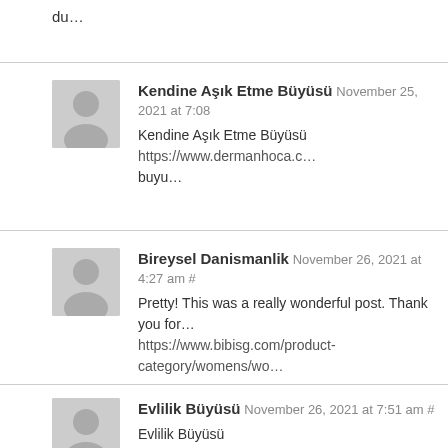du…
Kendine Aşık Etme Büyüsü November 25, 2021 at 7:08
Kendine Aşık Etme Büyüsü https://www.dermanhoca.c… buyu…
Bireysel Danismanlik November 26, 2021 at 4:27 am #
Pretty! This was a really wonderful post. Thank you for… https://www.bibisg.com/product-category/womens/wo…
Evlilik Büyüsü November 26, 2021 at 7:51 am #
Evlilik Büyüsü https://www.baglamaduasi.net/evlilik-bu…